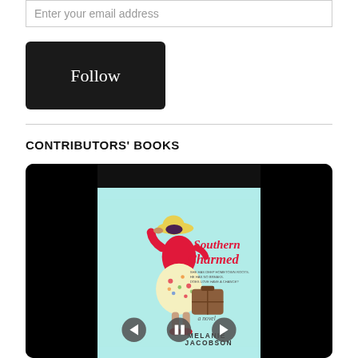Enter your email address
Follow
CONTRIBUTORS' BOOKS
[Figure (photo): Book carousel/slideshow widget showing the cover of 'Southern Charmed' by Melanie Jacobson. The cover features a woman in a red sweater, floral skirt, and yellow hat holding a suitcase, on a light teal background. Navigation arrows and a pause button are visible at the bottom.]